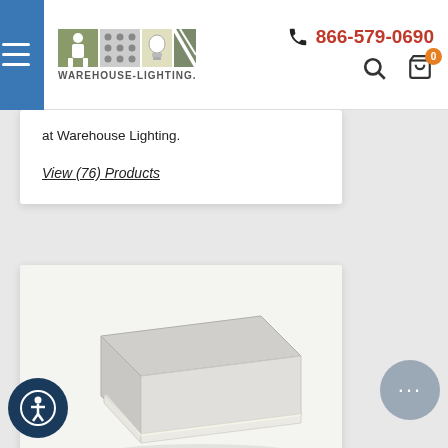Warehouse-Lighting.com | 866-579-0690
at Warehouse Lighting.
View (76) Products
[Figure (photo): White surface mounted LED strip light fixture shown at an angle against a light background]
Surface Mounted LED Strip Lights